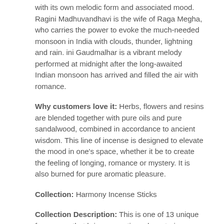with its own melodic form and associated mood. Ragini Madhuvandhavi is the wife of Raga Megha, who carries the power to evoke the much-needed monsoon in India with clouds, thunder, lightning and rain. ini Gaudmalhar is a vibrant melody performed at midnight after the long-awaited Indian monsoon has arrived and filled the air with romance.
Why customers love it: Herbs, flowers and resins are blended together with pure oils and pure sandalwood, combined in accordance to ancient wisdom. This line of incense is designed to elevate the mood in one's space, whether it be to create the feeling of longing, romance or mystery. It is also burned for pure aromatic pleasure.
Collection: Harmony Incense Sticks
Collection Description: This is one of 13 unique fragrances that bring romantic and mysterious moods, enticing vibrations and dynamic energy into one's space. Each one of these fragrances is named after a Ragini, the feminine musical aspect that evolved from Tantra: the worship of the male and female cosmic energies. Raginis